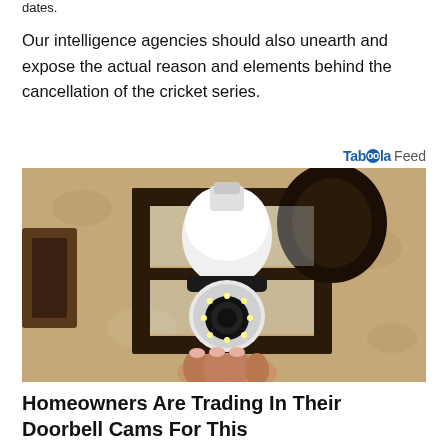dates.
Our intelligence agencies should also unearth and expose the actual reason and elements behind the cancellation of the cricket series.
[Figure (logo): Taboola Feed logo]
[Figure (photo): A security camera shaped like a light bulb installed in an outdoor wall lantern fixture mounted on a textured stucco wall]
Homeowners Are Trading In Their Doorbell Cams For This